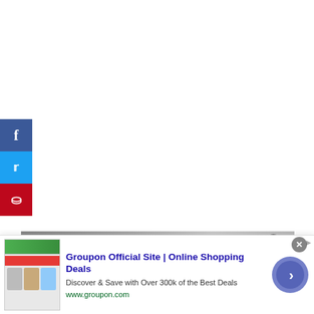[Figure (screenshot): Social media share sidebar with Facebook (blue), Twitter (cyan), and Pinterest (red) buttons on the left side of the page]
[Figure (screenshot): Video player overlay showing 'No compatible source was found for this' error message over a blurred photo of hands holding a remote control]
[Figure (screenshot): Advertisement banner for Groupon Official Site | Online Shopping Deals. Text: 'Discover & Save with Over 300k of the Best Deals', URL: www.groupon.com. Features thumbnail images and a circular arrow button.]